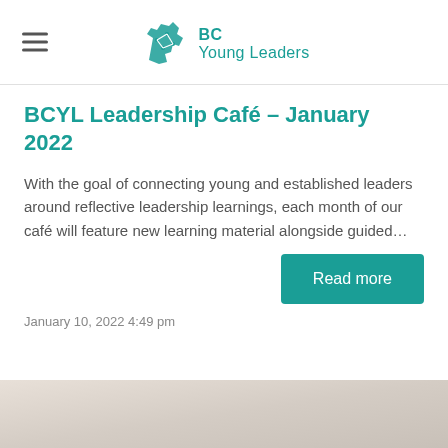BC Young Leaders
BCYL Leadership Café – January 2022
With the goal of connecting young and established leaders around reflective leadership learnings, each month of our café will feature new learning material alongside guided…
Read more
January 10, 2022 4:49 pm
[Figure (photo): Blurred light-colored background photo, partially visible at the bottom of the page]